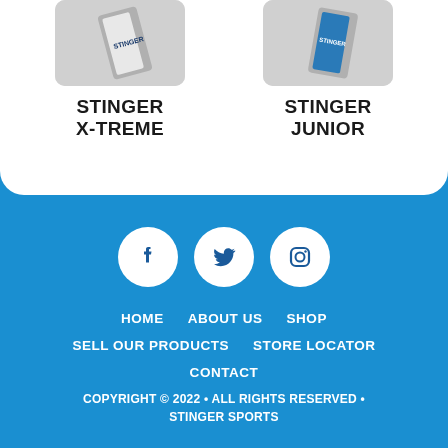[Figure (photo): Product image of Stinger X-Treme, partially cropped at top, with gray rounded background]
STINGER X-TREME
[Figure (photo): Product image of Stinger Junior, partially cropped at top, with gray rounded background]
STINGER JUNIOR
[Figure (other): Social media icons: Facebook, Twitter, Instagram — white circles on blue background]
HOME
ABOUT US
SHOP
SELL OUR PRODUCTS
STORE LOCATOR
CONTACT
COPYRIGHT © 2022 • ALL RIGHTS RESERVED • STINGER SPORTS